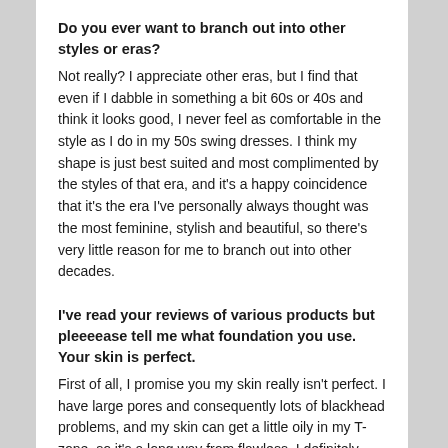Do you ever want to branch out into other styles or eras?
Not really? I appreciate other eras, but I find that even if I dabble in something a bit 60s or 40s and think it looks good, I never feel as comfortable in the style as I do in my 50s swing dresses. I think my shape is just best suited and most complimented by the styles of that era, and it's a happy coincidence that it's the era I've personally always thought was the most feminine, stylish and beautiful, so there's very little reason for me to branch out into other decades.
I've read your reviews of various products but pleeeease tell me what foundation you use. Your skin is perfect.
First of all, I promise you my skin really isn't perfect. I have large pores and consequently lots of blackhead problems, and my skin can get a little oily in my T-zone, so it's a long way from flawless. I definitely think getting your skin into a good condition as best as you can is more helpful than finding the perfect full coverage foundation–